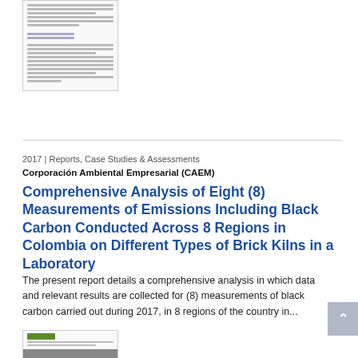[Figure (screenshot): Thumbnail preview of a document page showing text content]
2017 | Reports, Case Studies & Assessments
Corporación Ambiental Empresarial (CAEM)
Comprehensive Analysis of Eight (8) Measurements of Emissions Including Black Carbon Conducted Across 8 Regions in Colombia on Different Types of Brick Kilns in a Laboratory
The present report details a comprehensive analysis in which data and relevant results are collected for (8) measurements of black carbon carried out during 2017, in 8 regions of the country in...
[Figure (screenshot): Thumbnail preview of another document with CAEM logo at top]